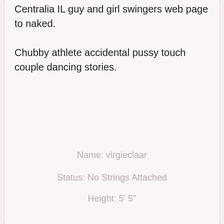Centralia IL guy and girl swingers web page to naked. Chubby athlete accidental pussy touch couple dancing stories.
Name: virgieclaar
Status: No Strings Attached
Height: 5' 5"
Body Type: Heavyset
Hair: Blonde
Age: 60